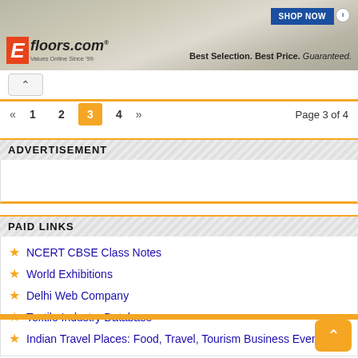[Figure (other): Efloors.com banner advertisement: Best Selection. Best Price. Guaranteed.]
« 1 2 3 4 » Page 3 of 4
ADVERTISEMENT
[Figure (other): Advertisement placeholder block]
PAID LINKS
NCERT CBSE Class Notes
World Exhibitions
Delhi Web Company
Textile Industry Database
Indian Travel Places: Food, Travel, Tourism Business Events